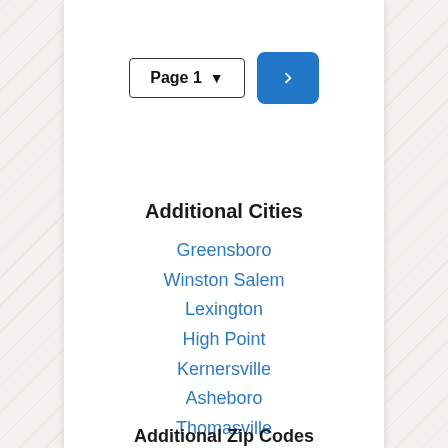[Figure (screenshot): Pagination control with 'Page 1' dropdown and a blue next-arrow button]
Additional Cities
Greensboro
Winston Salem
Lexington
High Point
Kernersville
Asheboro
Thomasville
Reidsville
Clemmons
Burlington
Additional Zip Codes